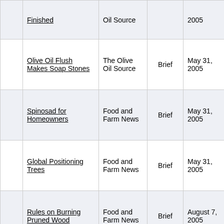|  | Title | Source | Type | Date | Issue |
| --- | --- | --- | --- | --- | --- |
|  | Finished | Oil Source |  | 2005 | 6 June 2005 |
|  | Olive Oil Flush Makes Soap Stones | The Olive Oil Source | Brief | May 31, 2005 | Volume 8 Issue 6 June 2005 |
|  | Spinosad for Homeowners | Food and Farm News | Brief | May 31, 2005 | Volume 8 Issue 6 June 2005 |
|  | Global Positioning Trees | Food and Farm News | Brief | May 31, 2005 | Volume 8 Issue 6 June 2005 |
|  | Rules on Burning Pruned Wood | Food and Farm News | Brief | August 7, 2005 | Volume 8 Issue 8 August 2005 |
|  | Spain Bakes, Olive | The Olive | Brief | August | Volume 8 Issue |